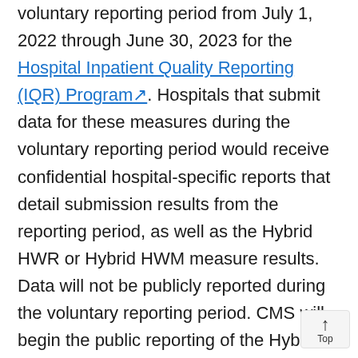(HHI). Measures are updated for the voluntary reporting period from July 1, 2022 through June 30, 2023 for the Hospital Inpatient Quality Reporting (IQR) Program. Hospitals that submit data for these measures during the voluntary reporting period would receive confidential hospital-specific reports that detail submission results from the reporting period, as well as the Hybrid HWR or Hybrid HWM measure results. Data will not be publicly reported during the voluntary reporting period. CMS will begin the public reporting of the Hybrid HWR and the Hybrid HWM measures results beginning with data collected from the July 1, 2023 through the June 30, 2024